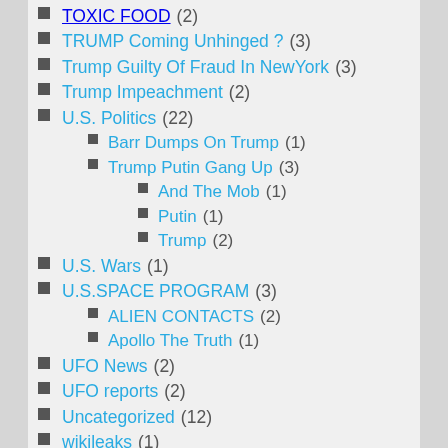TOXIC FOOD (2)
TRUMP Coming Unhinged ? (3)
Trump Guilty Of Fraud In NewYork (3)
Trump Impeachment (2)
U.S. Politics (22)
Barr Dumps On Trump (1)
Trump Putin Gang Up (3)
And The Mob (1)
Putin (1)
Trump (2)
U.S. Wars (1)
U.S.SPACE PROGRAM (3)
ALIEN CONTACTS (2)
Apollo The Truth (1)
UFO News (2)
UFO reports (2)
Uncategorized (12)
wikileaks (1)
Wyoming Ranchers Drive Cattle (1)